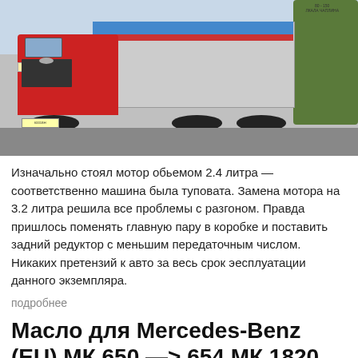[Figure (photo): A red Mercedes-Benz cargo truck with a gray container body with blue and red stripes, parked on a paved area with trees in the background.]
Изначально стоял мотор обьемом 2.4 литра — соответственно машина была туповата. Замена мотора на 3.2 литра решила все проблемы с разгоном. Правда пришлось поменять главную пару в коробке и поставить задний редуктор с меньшим передаточным числом. Никаких претензий к авто за весь срок эесплуатации данного экземпляра.
подробнее
Масло для Mercedes-Benz (EU) МК 650 —> 654 МК 1820 АК (4×4) Евро 1 (1992-1998). Какое масло лучше?